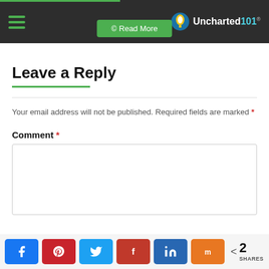Uncharted101
Leave a Reply
Your email address will not be published. Required fields are marked *
Comment *
[Figure (screenshot): Comment text area input box]
Share buttons: Facebook, Pinterest, Twitter, Flipboard, LinkedIn, Mix — 2 SHARES